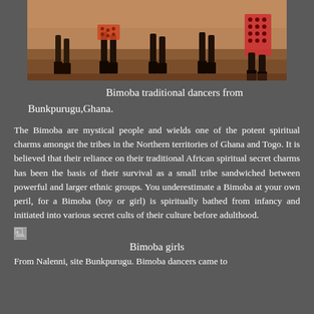[Figure (photo): Bimoba traditional dancers from Bunkpurugu, Ghana. Several figures shown from the waist down wearing traditional attire on a sandy/earthen ground.]
Bimoba traditional dancers from Bunkpurugu,Ghana.
The Bimoba are mystical people and wields one of the potent spiritual charms amongst the tribes in the Northern territories of Ghana and Togo. It is believed that their reliance on their traditional African spiritual secret charms has been the basis of their survival as a small tribe sandwiched between powerful and larger ethnic groups. You underestimate a Bimoba at your own peril, for a Bimoba (boy or girl) is spiritually bathed from infancy and initiated into various secret cults of their culture before adulthood.
[Figure (photo): Broken image placeholder for Bimoba girls photo]
Bimoba girls
From Nalenni, site Bunkpurugu. Bimoba dancers came to...